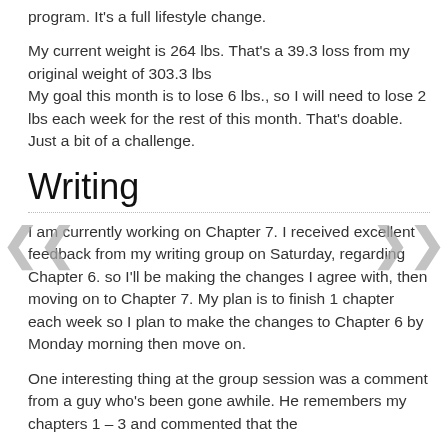program. It's a full lifestyle change.
My current weight is 264 lbs. That's a 39.3 loss from my original weight of 303.3 lbs
My goal this month is to lose 6 lbs., so I will need to lose 2 lbs each week for the rest of this month. That's doable. Just a bit of a challenge.
Writing
I am currently working on Chapter 7. I received excellent feedback from my writing group on Saturday, regarding Chapter 6. so I'll be making the changes I agree with, then moving on to Chapter 7. My plan is to finish 1 chapter each week so I plan to make the changes to Chapter 6 by Monday morning then move on.
One interesting thing at the group session was a comment from a guy who's been gone awhile. He remembers my chapters 1 – 3 and commented that the